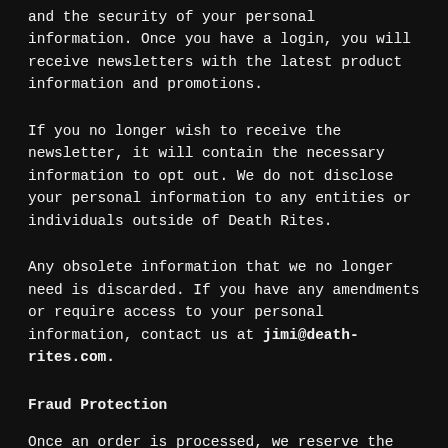and the security of your personal information. Once you have a login, you will receive newsletters with the latest product information and promotions.
If you no longer wish to receive the newsletter, it will contain the necessary information to opt out. We do not disclose your personal information to any entities or individuals outside of Death Rites.
Any obsolete information that we no longer need is discarded. If you have any amendments or require access to your personal information, contact us at jimi@death-rites.com.
Fraud Protection
Once an order is processed, we reserve the right to request from the customer an email of a scan or photo of a government-issued photo ID and the front and